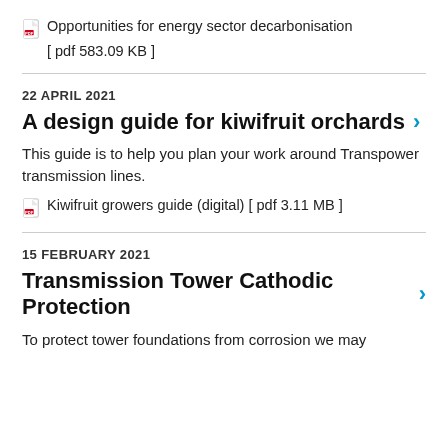Opportunities for energy sector decarbonisation [ pdf 583.09 KB ]
22 APRIL 2021
A design guide for kiwifruit orchards
This guide is to help you plan your work around Transpower transmission lines.
Kiwifruit growers guide (digital) [ pdf 3.11 MB ]
15 FEBRUARY 2021
Transmission Tower Cathodic Protection
To protect tower foundations from corrosion we may